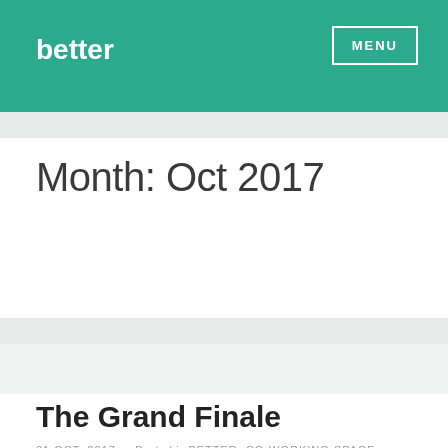better | MENU
Month: Oct 2017
The Grand Finale
31 OCT, 2017 • Posted in BETTER, CO-WORKING SPACE, STARTUP • Tagged BETTER,